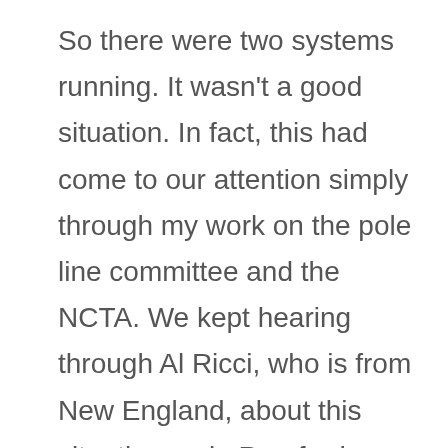So there were two systems running. It wasn't a good situation. In fact, this had come to our attention simply through my work on the pole line committee and the NCTA. We kept hearing through Al Ricci, who is from New England, about this situation up in Rumford, about what this damn phone company was doing in order to drive this other guy out of business. Fred Lieberman became acquainted with it. Fred negotiated the deal. But it ended up with four of us, Fred, Jack, myself, and Al Ricci. We all invested a certain amount of money to resolve this problem up there.